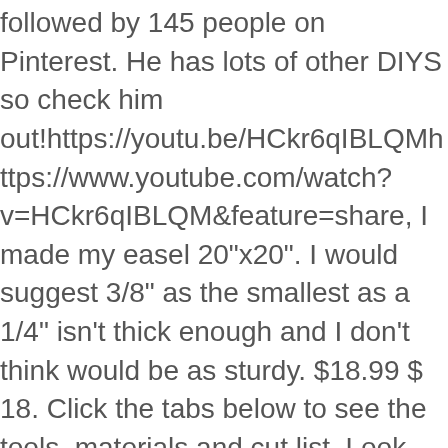followed by 145 people on Pinterest. He has lots of other DIYS so check him out!https://youtu.be/HCkr6qIBLQMhttps://www.youtube.com/watch?v=HCkr6qIBLQM&feature=share, I made my easel 20"x20". I would suggest 3/8" as the smallest as a 1/4" isn't thick enough and I don't think would be as sturdy. $18.99 $ 18. Click the tabs below to see the tools, materials and cut list. Look tempting? Its adjustable legs have a catch chain for stability, and rubber feet protect table surfaces and prevent slippage. Step 2: Assemble the front and back sides of this DIY easel. A tabletop easel is a stand that supports any type of media. Click & Collect. $37.95. Get it by Saturday, Jan 16. Tabletop Art Easel : A few years back I tried acrylic painting. A tabletop easel allows you to do artwork in a small area. Plus, it was super simple to